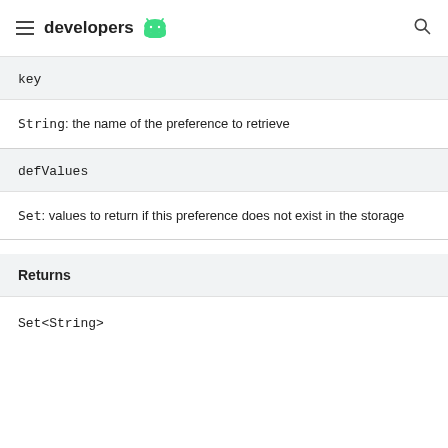developers
key
String: the name of the preference to retrieve
defValues
Set: values to return if this preference does not exist in the storage
Returns
Set<String>